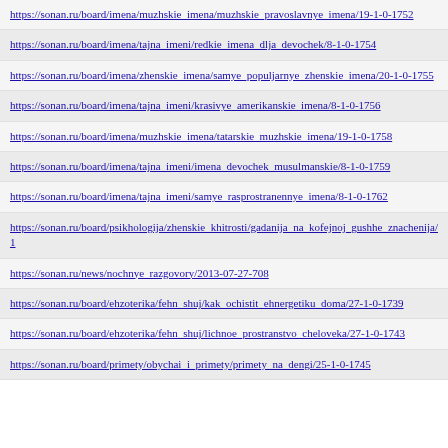https://sonan.ru/board/imena/muzhskie_imena/muzhskie_pravoslavnye_imena/19-1-0-1752
https://sonan.ru/board/imena/tajna_imeni/redkie_imena_dlja_devochek/8-1-0-1754
https://sonan.ru/board/imena/zhenskie_imena/samye_populjarnye_zhenskie_imena/20-1-0-1755
https://sonan.ru/board/imena/tajna_imeni/krasivye_amerikanskie_imena/8-1-0-1756
https://sonan.ru/board/imena/muzhskie_imena/tatarskie_muzhskie_imena/19-1-0-1758
https://sonan.ru/board/imena/tajna_imeni/imena_devochek_musulmanskie/8-1-0-1759
https://sonan.ru/board/imena/tajna_imeni/samye_rasprostranennye_imena/8-1-0-1762
https://sonan.ru/board/psikhologija/zhenskie_khitrosti/gadanija_na_kofejnoj_gushhe_znachenija/1
https://sonan.ru/news/nochnye_razgovory/2013-07-27-708
https://sonan.ru/board/ehzoterika/fehn_shuj/kak_ochistit_ehnergetiku_doma/27-1-0-1739
https://sonan.ru/board/ehzoterika/fehn_shuj/lichnoe_prostranstvo_cheloveka/27-1-0-1743
https://sonan.ru/board/primety/obychai_i_primety/primety_na_dengi/25-1-0-1745